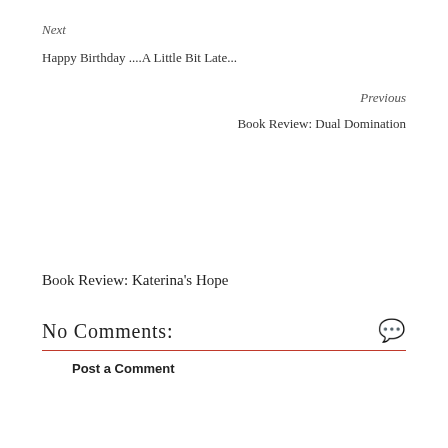Next
Happy Birthday ....A Little Bit Late...
Previous
Book Review: Dual Domination
Book Review: Katerina's Hope
No Comments:
Post a Comment